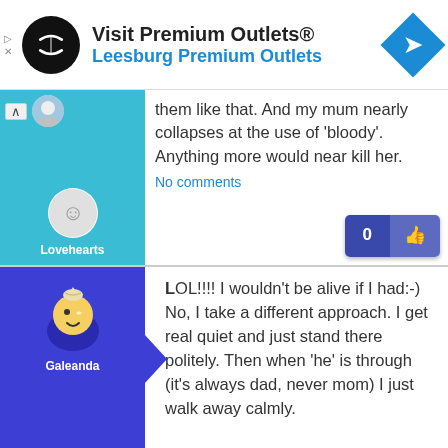[Figure (other): Advertisement banner for Premium Outlets with logo, text, and navigation arrow]
them like that. And my mum nearly collapses at the use of 'bloody'. Anything more would near kill her.
No comments
LOL!!!! I wouldn't be alive if I had:-) No, I take a different approach. I get real quiet and just stand there politely. Then when 'he' is through (it's always dad, never mom) I just walk away calmly.